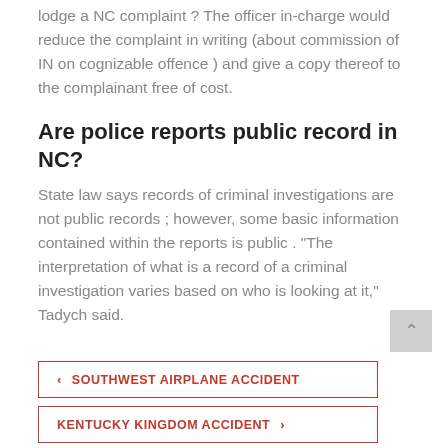lodge a NC complaint ? The officer in-charge would reduce the complaint in writing (about commission of IN on cognizable offence ) and give a copy thereof to the complainant free of cost.
Are police reports public record in NC?
State law says records of criminal investigations are not public records ; however, some basic information contained within the reports is public . “The interpretation of what is a record of a criminal investigation varies based on who is looking at it,” Tadych said.
‹ SOUTHWEST AIRPLANE ACCIDENT
KENTUCKY KINGDOM ACCIDENT ›
Leave a Reply